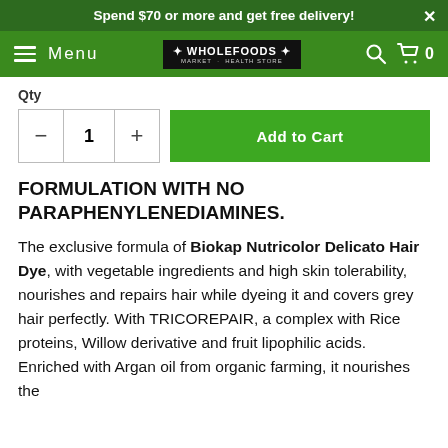Spend $70 or more and get free delivery!
Menu  [Whole Foods Market logo]  [search] [cart] 0
Qty
[Figure (screenshot): Quantity selector with minus button, number 1, plus button, and Add to Cart green button]
FORMULATION WITH NO PARAPHENYLENEDIAMINES.
The exclusive formula of Biokap Nutricolor Delicato Hair Dye, with vegetable ingredients and high skin tolerability, nourishes and repairs hair while dyeing it and covers grey hair perfectly. With TRICOREPAIR, a complex with Rice proteins, Willow derivative and fruit lipophilic acids. Enriched with Argan oil from organic farming, it nourishes the